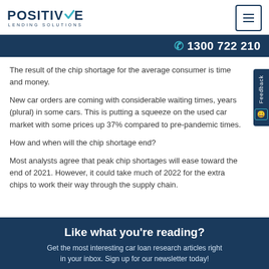POSITIVE LENDING SOLUTIONS | 1300 722 210
The result of the chip shortage for the average consumer is time and money.
New car orders are coming with considerable waiting times, years (plural) in some cars. This is putting a squeeze on the used car market with some prices up 37% compared to pre-pandemic times.
How and when will the chip shortage end?
Most analysts agree that peak chip shortages will ease toward the end of 2021. However, it could take much of 2022 for the extra chips to work their way through the supply chain.
Like what you're reading?
Get the most interesting car loan research articles right in your inbox. Sign up for our newsletter today!